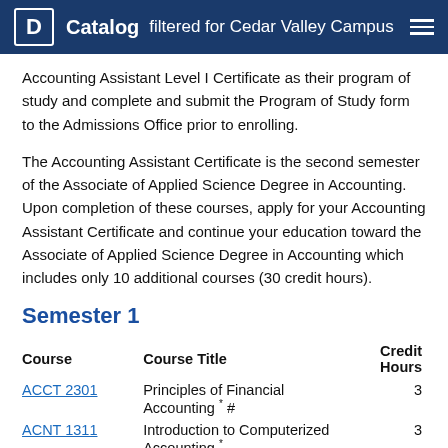Catalog filtered for Cedar Valley Campus
Accounting Assistant Level I Certificate as their program of study and complete and submit the Program of Study form to the Admissions Office prior to enrolling.
The Accounting Assistant Certificate is the second semester of the Associate of Applied Science Degree in Accounting. Upon completion of these courses, apply for your Accounting Assistant Certificate and continue your education toward the Associate of Applied Science Degree in Accounting which includes only 10 additional courses (30 credit hours).
Semester 1
| Course | Course Title | Credit Hours |
| --- | --- | --- |
| ACCT 2301 | Principles of Financial Accounting * # | 3 |
| ACNT 1311 | Introduction to Computerized Accounting * | 3 |